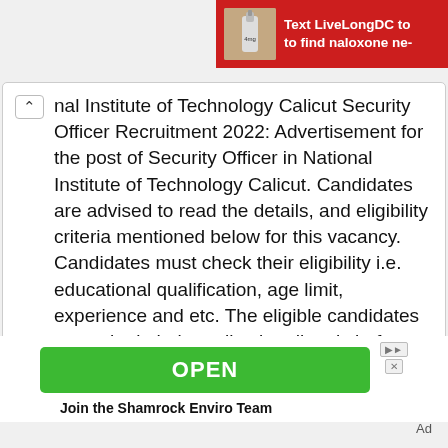[Figure (screenshot): Red advertisement banner at top right: 'Text LiveLongDC to to find naloxone ne-' with image of a syringe/medical device on left]
nal Institute of Technology Calicut Security Officer Recruitment 2022: Advertisement for the post of Security Officer in National Institute of Technology Calicut. Candidates are advised to read the details, and eligibility criteria mentioned below for this vacancy. Candidates must check their eligibility i.e. educational qualification, age limit, experience and etc. The eligible candidates can submit their application directly before 03 June 2022. Candidates can check the latest National
[Figure (screenshot): Green OPEN button advertisement with 'Join the Shamrock Enviro Team' text below]
Ad